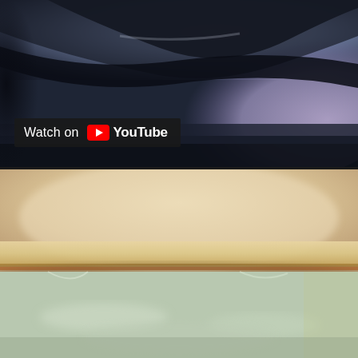[Figure (photo): Blurred close-up photo of what appears to be a car interior or similar dark curved surface with blue/purple tones, with a 'Watch on YouTube' badge overlay in the lower-left corner]
[Figure (photo): Blurred close-up photo of what appears to be a thin flat object (possibly a cracker or food item) resting on a surface, with warm beige/tan tones, showing some layered edges]